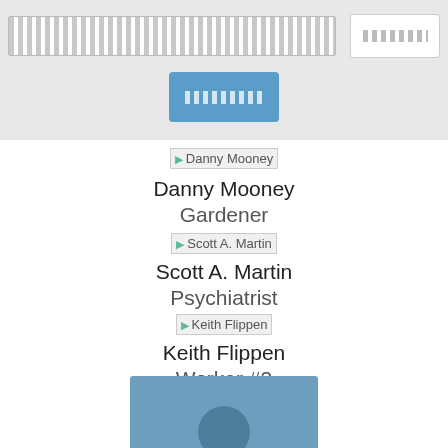[search bar UI]
[Figure (screenshot): Broken image placeholder for Danny Mooney]
Danny Mooney
Gardener
[Figure (screenshot): Broken image placeholder for Scott A. Martin]
Scott A. Martin
Psychiatrist
[Figure (screenshot): Broken image placeholder for Keith Flippen]
Keith Flippen
Worker #2
[Figure (photo): Blue-toned person profile photo, partially visible at bottom]